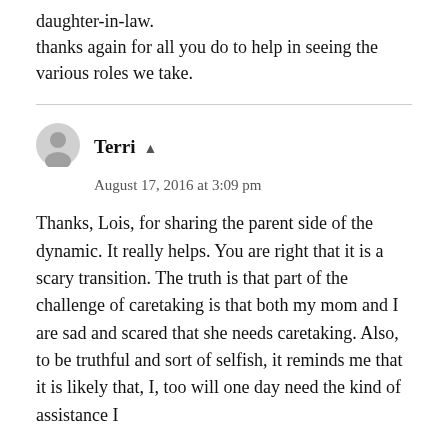daughter-in-law.
thanks again for all you do to help in seeing the various roles we take.
Terri
August 17, 2016 at 3:09 pm
Thanks, Lois, for sharing the parent side of the dynamic. It really helps. You are right that it is a scary transition. The truth is that part of the challenge of caretaking is that both my mom and I are sad and scared that she needs caretaking. Also, to be truthful and sort of selfish, it reminds me that it is likely that, I, too will one day need the kind of assistance I